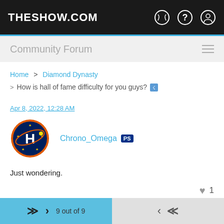THESHOW.COM
Community Forum
Home > Diamond Dynasty > How is hall of fame difficulty for you guys?
Apr 8, 2022, 12:28 AM
Chrono_Omega
Just wondering.
9 out of 9